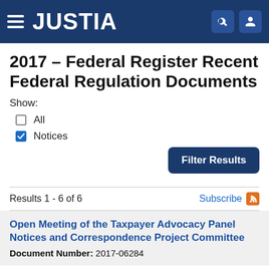JUSTIA
2017 – Federal Register Recent Federal Regulation Documents
Show:
All
Notices
Filter Results
Results 1 - 6 of 6
Subscribe
Open Meeting of the Taxpayer Advocacy Panel Notices and Correspondence Project Committee
Document Number: 2017-06284